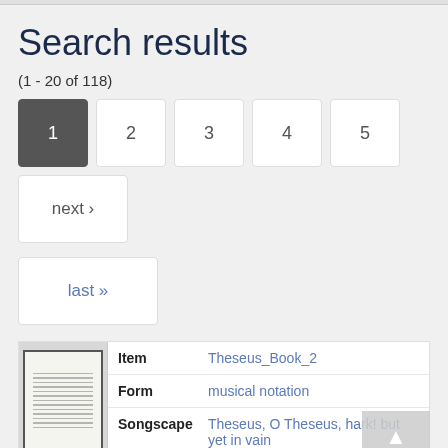Search results
(1 - 20 of 118)
1 (current page)
2
3
4
5
next ›
last »
|  | Item | Theseus_Book_2 | Form | musical notation | Songscape | Theseus, O Theseus, hark! but yet in vain |
| --- | --- | --- | --- | --- | --- | --- |
|  | Item | Theseus_Book_1 |
| --- | --- | --- |